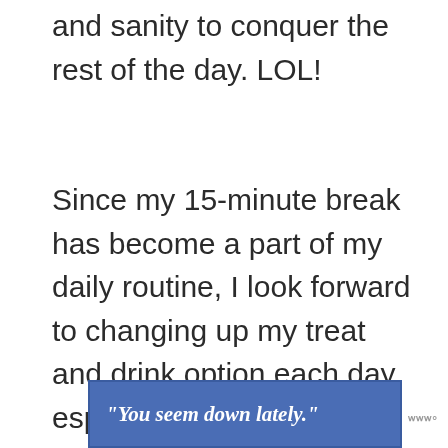and sanity to conquer the rest of the day. LOL!
Since my 15-minute break has become a part of my daily routine, I look forward to changing up my treat and drink option each day, especially now that fall is here!
[Figure (other): Teal circular heart/favorite button and a white circular share button with share icon]
[Figure (other): Advertisement banner with blue background showing the text: "You seem down lately." with a small logo to the right]